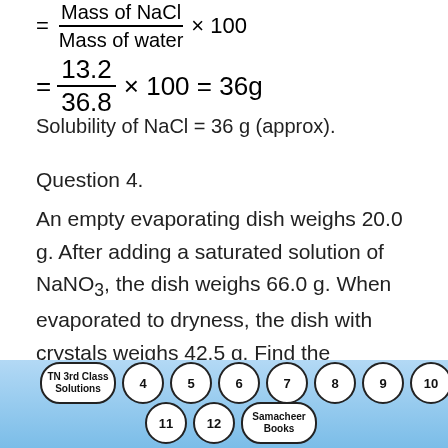Solubility of NaCl = 36 g (approx).
Question 4.
An empty evaporating dish weighs 20.0 g. After adding a saturated solution of NaNO3, the dish weighs 66.0 g. When evaporated to dryness, the dish with crystals weighs 42.5 g. Find the solubility of NaNO3 at 20°C.
Solution:
[Figure (infographic): Navigation bubble buttons: TN 3rd Class Solutions, 4, 5, 6, 7, 8, 9, 10 in row 1; 11, 12, Samacheer Books in row 2, on a blue gradient background footer.]